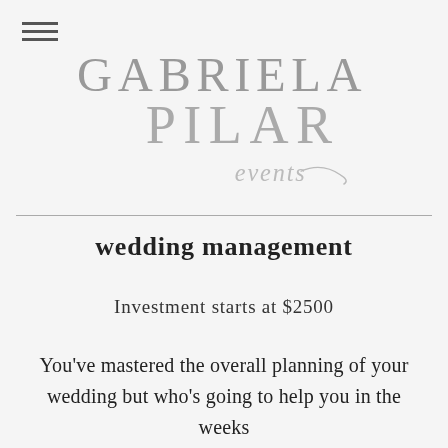[Figure (logo): Gabriela Pilar Events logo — large elegant thin-font text reading GABRIELA PILAR events in gray]
wedding management
Investment starts at $2500
You've mastered the overall planning of your wedding but who's going to help you in the weeks